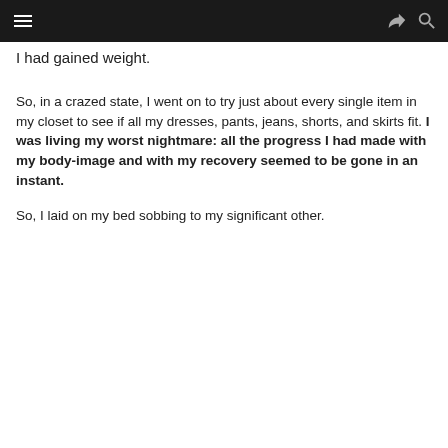[navigation bar with hamburger menu, share icon, search icon]
I had gained weight.
So, in a crazed state, I went on to try just about every single item in my closet to see if all my dresses, pants, jeans, shorts, and skirts fit. I was living my worst nightmare: all the progress I had made with my body-image and with my recovery seemed to be gone in an instant.
So, I laid on my bed sobbing to my significant other.